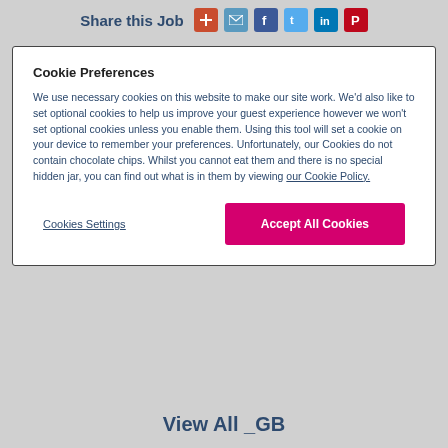Share this Job
Cookie Preferences
We use necessary cookies on this website to make our site work. We'd also like to set optional cookies to help us improve your guest experience however we won't set optional cookies unless you enable them. Using this tool will set a cookie on your device to remember your preferences. Unfortunately, our Cookies do not contain chocolate chips. Whilst you cannot eat them and there is no special hidden jar, you can find out what is in them by viewing our Cookie Policy.
Cookies Settings
Accept All Cookies
View All _GB